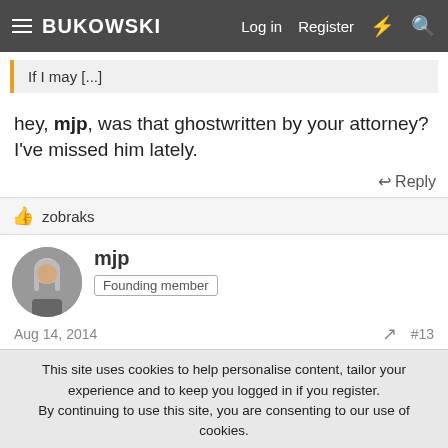BUKOWSKI | Log in | Register
If I may [...]
hey, mjp, was that ghostwritten by your attorney? I've missed him lately.
Reply
zobraks
mjp
Founding member
Aug 14, 2014  #13
This site uses cookies to help personalise content, tailor your experience and to keep you logged in if you register.
By continuing to use this site, you are consenting to our use of cookies.
Accept | Learn more...